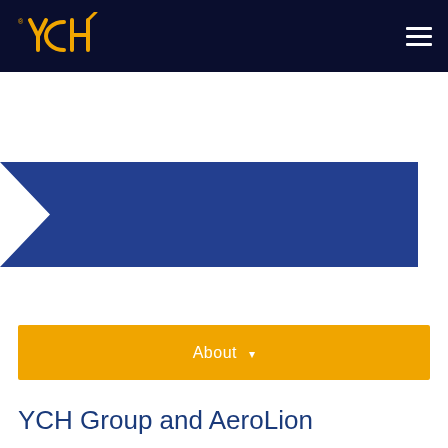YCH (logo) — navigation header with hamburger menu
[Figure (illustration): Blue chevron/arrow banner pointing right, spanning nearly full width on a white background]
About ▾
YCH Group and AeroLion